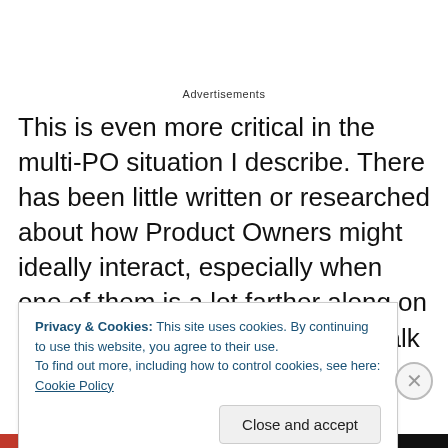Advertisements
This is even more critical in the multi-PO situation I describe. There has been little written or researched about how Product Owners might ideally interact, especially when one of them is a lot farther along on a given project. Even the small talk of our required roles isn't something we can fall back on because co-Product Owners don't have clear roles and “junior” Product Owners aren't truly
Privacy & Cookies: This site uses cookies. By continuing to use this website, you agree to their use.
To find out more, including how to control cookies, see here: Cookie Policy
Close and accept